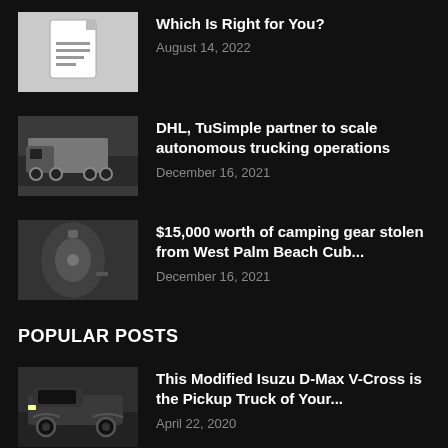[Figure (illustration): Document/file icon placeholder thumbnail]
Which Is Right for You?
August 14, 2022
[Figure (photo): Semi-truck / autonomous truck on highway]
DHL, TuSimple partner to scale autonomous trucking operations
December 16, 2021
[Figure (photo): Close-up dark photo, possibly broken lock or vehicle damage]
$15,000 worth of camping gear stolen from West Palm Beach Cub...
December 16, 2021
POPULAR POSTS
[Figure (photo): Modified Isuzu D-Max V-Cross pickup truck, dark color, front angle]
This Modified Isuzu D-Max V-Cross is the Pickup Truck of Your...
April 22, 2020